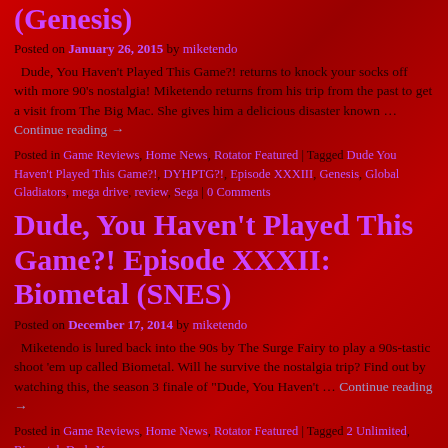(Genesis)
Posted on January 26, 2015 by miketendo
Dude, You Haven't Played This Game?! returns to knock your socks off with more 90's nostalgia! Miketendo returns from his trip from the past to get a visit from The Big Mac. She gives him a delicious disaster known … Continue reading →
Posted in Game Reviews, Home News, Rotator Featured | Tagged Dude You Haven't Played This Game?!, DYHPTG?!, Episode XXXIII, Genesis, Global Gladiators, mega drive, review, Sega | 0 Comments
Dude, You Haven't Played This Game?! Episode XXXII: Biometal (SNES)
Posted on December 17, 2014 by miketendo
Miketendo is lured back into the 90s by The Surge Fairy to play a 90s-tastic shoot 'em up called Biometal. Will he survive the nostalgia trip? Find out by watching this, the season 3 finale of "Dude, You Haven't … Continue reading →
Posted in Game Reviews, Home News, Rotator Featured | Tagged 2 Unlimited, Biometal, Dude You Haven't …